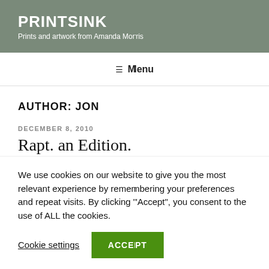PRINTSINK
Prints and artwork from Amanda Morris
≡ Menu
AUTHOR: JON
DECEMBER 8, 2010
Rapt. an Edition.
We use cookies on our website to give you the most relevant experience by remembering your preferences and repeat visits. By clicking "Accept", you consent to the use of ALL the cookies.
Cookie settings  ACCEPT